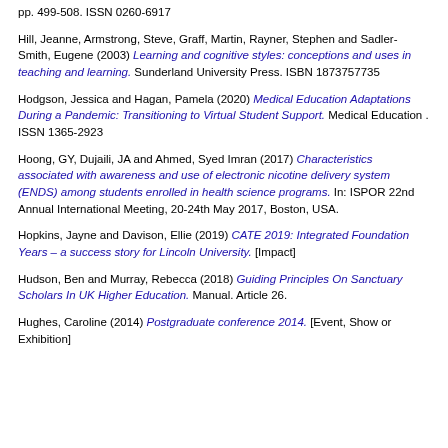pp. 499-508. ISSN 0260-6917
Hill, Jeanne, Armstrong, Steve, Graff, Martin, Rayner, Stephen and Sadler-Smith, Eugene (2003) Learning and cognitive styles: conceptions and uses in teaching and learning. Sunderland University Press. ISBN 1873757735
Hodgson, Jessica and Hagan, Pamela (2020) Medical Education Adaptations During a Pandemic: Transitioning to Virtual Student Support. Medical Education . ISSN 1365-2923
Hoong, GY, Dujaili, JA and Ahmed, Syed Imran (2017) Characteristics associated with awareness and use of electronic nicotine delivery system (ENDS) among students enrolled in health science programs. In: ISPOR 22nd Annual International Meeting, 20-24th May 2017, Boston, USA.
Hopkins, Jayne and Davison, Ellie (2019) CATE 2019: Integrated Foundation Years – a success story for Lincoln University. [Impact]
Hudson, Ben and Murray, Rebecca (2018) Guiding Principles On Sanctuary Scholars In UK Higher Education. Manual. Article 26.
Hughes, Caroline (2014) Postgraduate conference 2014. [Event, Show or Exhibition]